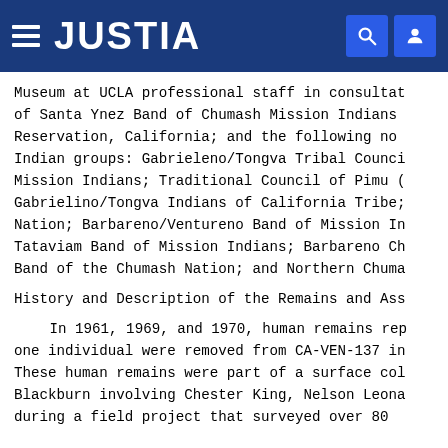JUSTIA
Museum at UCLA professional staff in consultation of Santa Ynez Band of Chumash Mission Indians Reservation, California; and the following non-Indian groups: Gabrieleno/Tongva Tribal Council Mission Indians; Traditional Council of Pimu (Gabrielino/Tongva Indians of California Tribe; Nation; Barbareno/Ventureno Band of Mission Indians; Tataviam Band of Mission Indians; Barbareno Chumash Band of the Chumash Nation; and Northern Chumash
History and Description of the Remains and Associated
In 1961, 1969, and 1970, human remains representing one individual were removed from CA-VEN-137 in These human remains were part of a surface collection Blackburn involving Chester King, Nelson Leonard during a field project that surveyed over 80